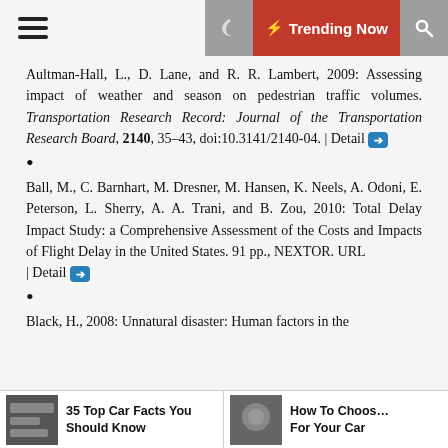≡  ☽  ⚡ Trending Now  🔍
Aultman-Hall, L., D. Lane, and R. R. Lambert, 2009: Assessing impact of weather and season on pedestrian traffic volumes. Transportation Research Record: Journal of the Transportation Research Board, 2140, 35–43, doi:10.3141/2140-04. | Detail ➡
Ball, M., C. Barnhart, M. Dresner, M. Hansen, K. Neels, A. Odoni, E. Peterson, L. Sherry, A. A. Trani, and B. Zou, 2010: Total Delay Impact Study: a Comprehensive Assessment of the Costs and Impacts of Flight Delay in the United States. 91 pp., NEXTOR. URL | Detail ➡
Black, H., 2008: Unnatural disaster: Human factors in the
35 Top Car Facts You Should Know  |  How To Choose For Your Car